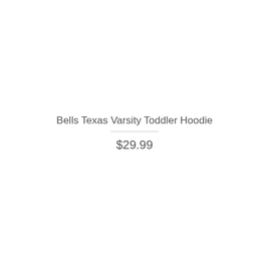Bells Texas Varsity Toddler Hoodie
$29.99